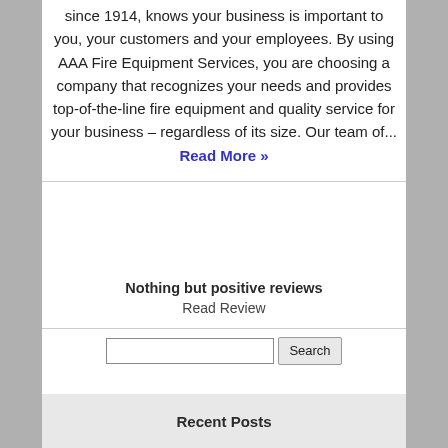since 1914, knows your business is important to you, your customers and your employees. By using AAA Fire Equipment Services, you are choosing a company that recognizes your needs and provides top-of-the-line fire equipment and quality service for your business – regardless of its size. Our team of... Read More »
Nothing but positive reviews
Read Review
Recent Posts